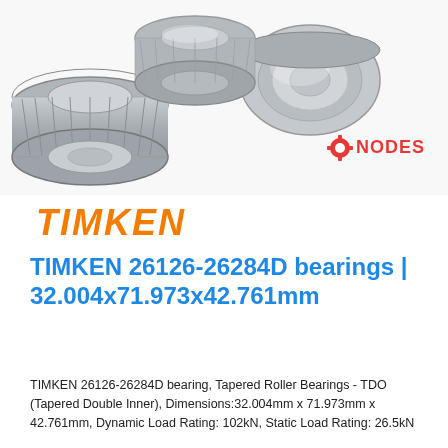[Figure (photo): Three Timken tapered roller bearings shown from different angles on a white background, with NODES watermark logo (red gear icon and red text) in the lower right of the image.]
TIMKEN
TIMKEN 26126-26284D bearings | 32.004x71.973x42.761mm
TIMKEN 26126-26284D bearing, Tapered Roller Bearings - TDO (Tapered Double Inner), Dimensions:32.004mm x 71.973mm x 42.761mm, Dynamic Load Rating: 102kN, Static Load Rating: 26.5kN